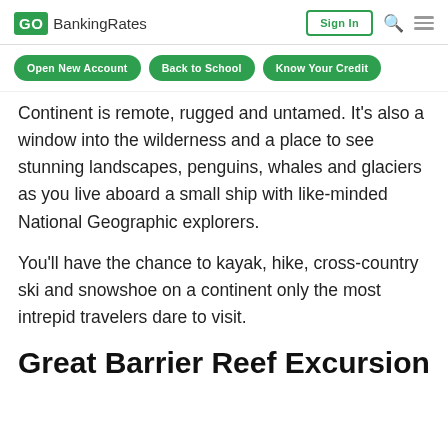GO BankingRates | Sign In
Open New Account | Back to School | Know Your Credit
Continent is remote, rugged and untamed. It's also a window into the wilderness and a place to see stunning landscapes, penguins, whales and glaciers as you live aboard a small ship with like-minded National Geographic explorers.
You'll have the chance to kayak, hike, cross-country ski and snowshoe on a continent only the most intrepid travelers dare to visit.
Great Barrier Reef Excursion